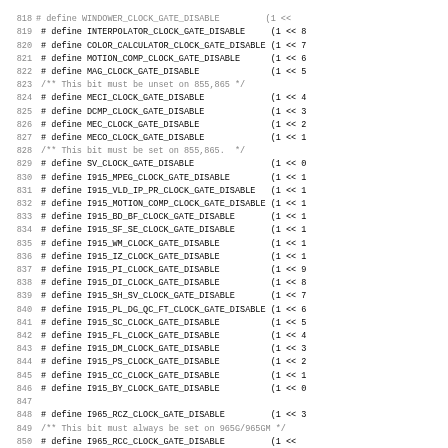Source code listing showing C preprocessor #define macros for clock gate disable registers, lines 818-850
819 # define INTERPOLATOR_CLOCK_GATE_DISABLE    (1 << 8
820 # define COLOR_CALCULATOR_CLOCK_GATE_DISABLE (1 << 7
821 # define MOTION_COMP_CLOCK_GATE_DISABLE      (1 << 6
822 # define MAG_CLOCK_GATE_DISABLE              (1 << 5
823 /** This bit must be unset on 855,865 */
824 # define MECI_CLOCK_GATE_DISABLE             (1 << 4
825 # define DCMP_CLOCK_GATE_DISABLE             (1 << 3
826 # define MEC_CLOCK_GATE_DISABLE              (1 << 2
827 # define MECO_CLOCK_GATE_DISABLE             (1 << 1
828 /** This bit must be set on 855,865. */
829 # define SV_CLOCK_GATE_DISABLE               (1 << 0
830 # define I915_MPEG_CLOCK_GATE_DISABLE        (1 << 1
831 # define I915_VLD_IP_PR_CLOCK_GATE_DISABLE   (1 << 1
832 # define I915_MOTION_COMP_CLOCK_GATE_DISABLE (1 << 1
833 # define I915_BD_BF_CLOCK_GATE_DISABLE       (1 << 1
834 # define I915_SF_SE_CLOCK_GATE_DISABLE       (1 << 1
835 # define I915_WM_CLOCK_GATE_DISABLE          (1 << 1
836 # define I915_IZ_CLOCK_GATE_DISABLE          (1 << 1
837 # define I915_PI_CLOCK_GATE_DISABLE          (1 << 9
838 # define I915_DI_CLOCK_GATE_DISABLE          (1 << 8
839 # define I915_SH_SV_CLOCK_GATE_DISABLE       (1 << 7
840 # define I915_PL_DG_QC_FT_CLOCK_GATE_DISABLE (1 << 6
841 # define I915_SC_CLOCK_GATE_DISABLE          (1 << 5
842 # define I915_FL_CLOCK_GATE_DISABLE          (1 << 4
843 # define I915_DM_CLOCK_GATE_DISABLE          (1 << 3
844 # define I915_PS_CLOCK_GATE_DISABLE          (1 << 2
845 # define I915_CC_CLOCK_GATE_DISABLE          (1 << 1
846 # define I915_BY_CLOCK_GATE_DISABLE          (1 << 0
847
848 # define I965_RCZ_CLOCK_GATE_DISABLE         (1 << 3
849 /** This bit must always be set on 965G/965GM */
850 # define I965_RCC_CLOCK_GATE_DISABLE         (1 <<